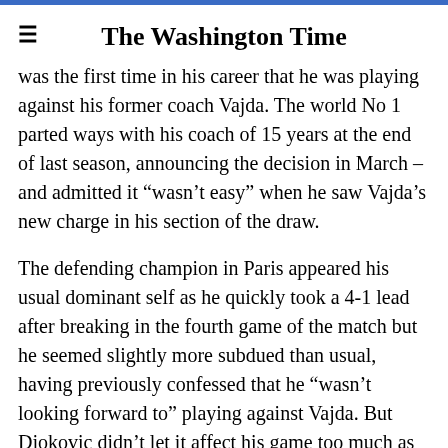The Washington Time
was the first time in his career that he was playing against his former coach Vajda. The world No 1 parted ways with his coach of 15 years at the end of last season, announcing the decision in March – and admitted it “wasn’t easy” when he saw Vajda’s new charge in his section of the draw.
The defending champion in Paris appeared his usual dominant self as he quickly took a 4-1 lead after breaking in the fourth game of the match but he seemed slightly more subdued than usual, having previously confessed that he “wasn’t looking forward to” playing against Vajda. But Djokovic didn’t let it affect his game too much as he broke again in the final game of the set to take it 6-2 in 30 minutes, losing just